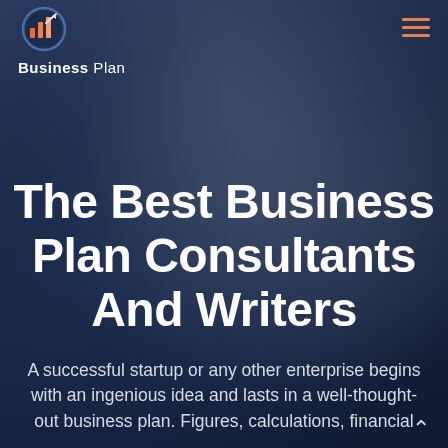[Figure (logo): Business Plan logo with bar chart icon and upward arrow in circular graphic, orange and white bars on dark blue background]
The Best Business Plan Consultants And Writers
A successful startup or any other enterprise begins with an ingenious idea and lasts in a well-thought-out business plan. Figures, calculations, financial